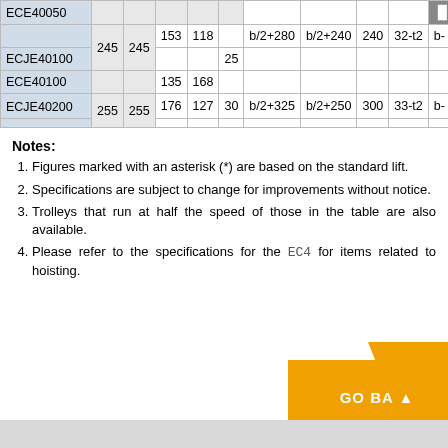| Model |  |  |  |  |  |  |  |  |  |  |
| --- | --- | --- | --- | --- | --- | --- | --- | --- | --- | --- |
| ECE40050 | 245 | 245 |  |  |  |  |  |  |  | b- |
| ECJE40100 |  |  | 153 | 118 | 25 | b/2+280 | b/2+240 | 240 | 32-t2 | b- |
| ECE40100 |  |  | 135 | 168 |  |  |  |  |  |  |
| ECJE40200 | 255 | 255 | 176 | 127 | 30 | b/2+325 | b/2+250 | 300 | 33-t2 | b- |
Notes:
Figures marked with an asterisk (*) are based on the standard lift.
Specifications are subject to change for improvements without notice.
Trolleys that run at half the speed of those in the table are also available.
Please refer to the specifications for the EC4 for items related to hoisting.